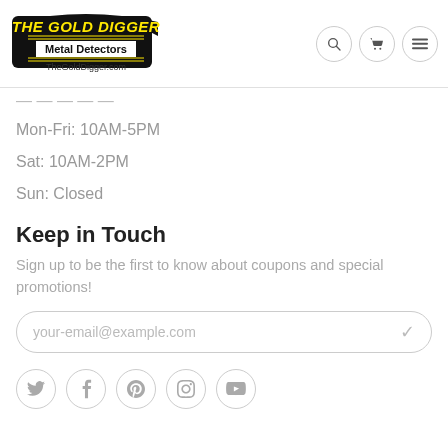[Figure (logo): The Gold Digger Metal Detectors logo with yellow arched text on black border, 'Metal Detectors' in black, 'TheGoldDigger.com' below]
Mon-Fri: 10AM-5PM
Sat: 10AM-2PM
Sun: Closed
Keep in Touch
Sign up to be the first to know about coupons and special promotions!
your-email@example.com
[Figure (infographic): Social media icons row: Twitter, Facebook, Pinterest, Instagram, YouTube — each in a light grey circle border]